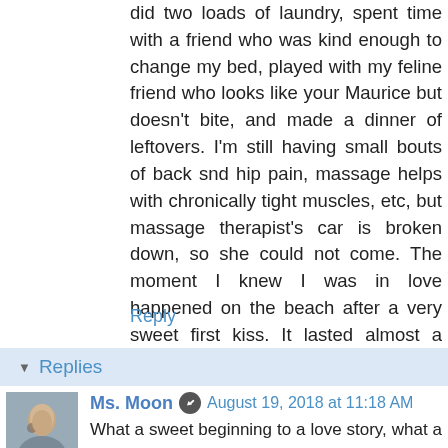did two loads of laundry, spent time with a friend who was kind enough to change my bed, played with my feline friend who looks like your Maurice but doesn't bite, and made a dinner of leftovers. I'm still having small bouts of back snd hip pain, massage helps with chronically tight muscles, etc, but massage therapist's car is broken down, so she could not come. The moment I knew I was in love happened on the beach after a very sweet first kiss. It lasted almost a decade and ended in tragedy that transformed my being. I have no jokes and sometimes, those who do not know me well say I'm a bit serious, but I love to listen to music, dance in my chair and laugh. I wish you a good homecoming with those grandsons. Sweet dreams.
Reply
Replies
Ms. Moon  August 19, 2018 at 11:18 AM
What a sweet beginning to a love story, what a very sad ending. I'm sorry.
Maurice has been less bitey these days. I don't know why.